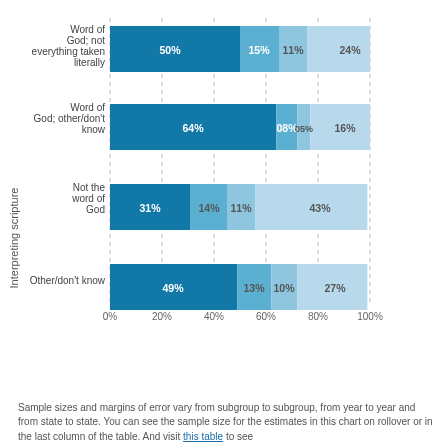[Figure (stacked-bar-chart): Interpreting scripture]
Sample sizes and margins of error vary from subgroup to subgroup, from year to year and from state to state. You can see the sample size for the estimates in this chart on rollover or in the last column of the table. And visit this table to see